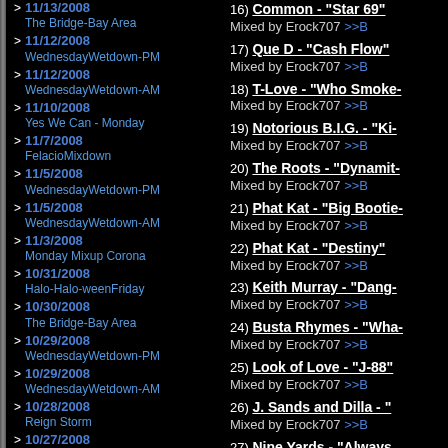11/13/2008 - The Bridge-Bay Area
11/12/2008 - WednesdayWetdown-PM
11/12/2008 - WednesdayWetdown-AM
11/10/2008 - Yes We Can - Monday
11/7/2008 - FelacioMixdown
11/5/2008 - WednesdayWetdown-PM
11/5/2008 - WednesdayWetdown-AM
11/3/2008 - Monday Mixup Corona
10/31/2008 - Halo-Halo-weenFriday
10/30/2008 - The Bridge-Bay Area
10/29/2008 - WednesdayWetdown-PM
10/29/2008 - WednesdayWetdown-AM
10/28/2008 - Reign Storm
10/27/2008 - Monday Monster Mixup
10/24/2008 - Friday House Party
10/22/2008 - WednesdayWetdown-PM
16) Common - "Star 69" Mixed by Erock707
17) Que D - "Cash Flow" Mixed by Erock707
18) T-Love - "Who Smoke-" Mixed by Erock707
19) Notorious B.I.G. - "Ki-" Mixed by Erock707
20) The Roots - "Dynamit-" Mixed by Erock707
21) Phat Kat - "Big Bootie-" Mixed by Erock707
22) Phat Kat - "Destiny" Mixed by Erock707
23) Keith Murray - "Dang-" Mixed by Erock707
24) Busta Rhymes - "Wha-" Mixed by Erock707
25) Look of Love - "J-88" Mixed by Erock707
26) J. Sands and Dilla - "" Mixed by Erock707
27) Nine Yards - "Always-" Mixed by Erock707